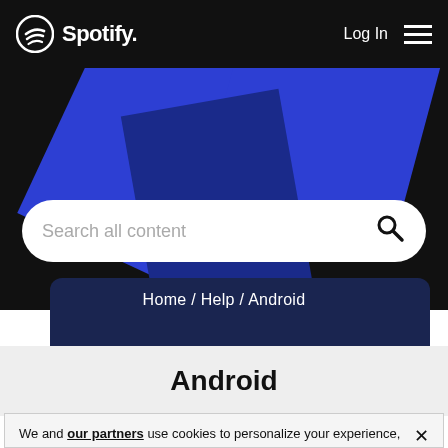Spotify — Log In
[Figure (screenshot): Spotify website header with logo on left, Log In text and hamburger menu on right, black background]
[Figure (infographic): Blue geometric abstract shapes on dark background forming hero banner]
Search all content
Home / Help / Android
Android
We and our partners use cookies to personalize your experience, to show you ads based on your interests, and for measurement and analytics purposes. By using our website and services, you agree to our use of cookies as described in our Cookie Policy.